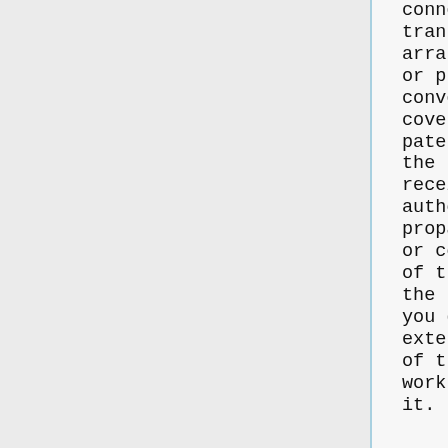connection with a single transaction or arrangement, you convey, or propagate by procuring conveyance of, a covered work, and grant a patent license to some of the parties receiving the covered work authorizing them to use, propagate, modify or convey a specific copy of the covered work, then the patent license you grant is automatically extended to all recipients of the covered work and works based on it.
A patent license is "discriminatory" if it does not include within the scope of its coverage, prohibits the exercise of,